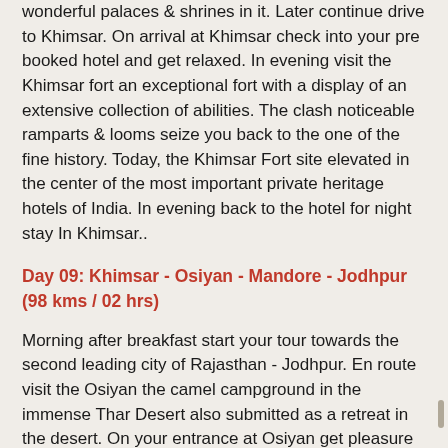wonderful palaces & shrines in it. Later continue drive to Khimsar. On arrival at Khimsar check into your pre booked hotel and get relaxed. In evening visit the Khimsar fort an exceptional fort with a display of an extensive collection of abilities. The clash noticeable ramparts & looms seize you back to the one of the fine history. Today, the Khimsar Fort site elevated in the center of the most important private heritage hotels of India. In evening back to the hotel for night stay In Khimsar..
Day 09: Khimsar - Osiyan - Mandore - Jodhpur (98 kms / 02 hrs)
Morning after breakfast start your tour towards the second leading city of Rajasthan - Jodhpur. En route visit the Osiyan the camel campground in the immense Thar Desert also submitted as a retreat in the desert. On your entrance at Osiyan get pleasure from the camel tour to close by oasis rustic society Khetasar and also view to the dwelling potter, Bishnois shelters, and weavers as on your Camel Safari tour.